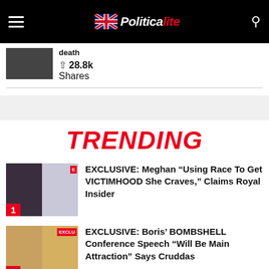Politicalite
death
28.8k Shares
TRENDING
EXCLUSIVE: Meghan “Using Race To Get VICTIMHOOD She Craves,” Claims Royal Insider
EXCLUSIVE: Boris’ BOMBSHELL Conference Speech “Will Be Main Attraction” Says Cruddas